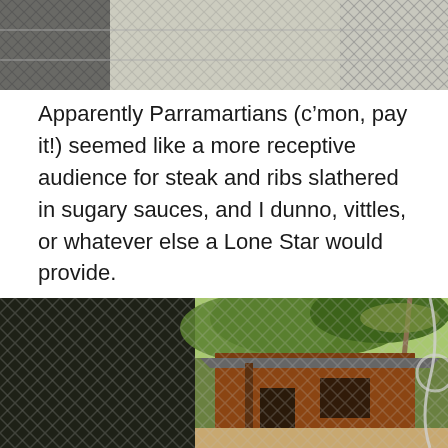[Figure (photo): Top portion of a photo showing a chain-link fence with a blurred background, cropped at the top of the page]
Apparently Parramartians (c’mon, pay it!) seemed like a more receptive audience for steak and ribs slathered in sugary sauces, and I dunno, vittles, or whatever else a Lone Star would provide.
[Figure (photo): Photo of an old red/brown brick building or house viewed through a chain-link fence, with trees including a palm tree overhead and a dirt/gravel area in the foreground]